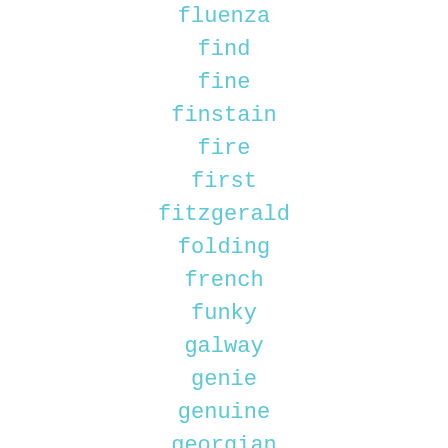fluenza
find
fine
finstain
fire
first
fitzgerald
folding
french
funky
galway
genie
genuine
georgian
getting